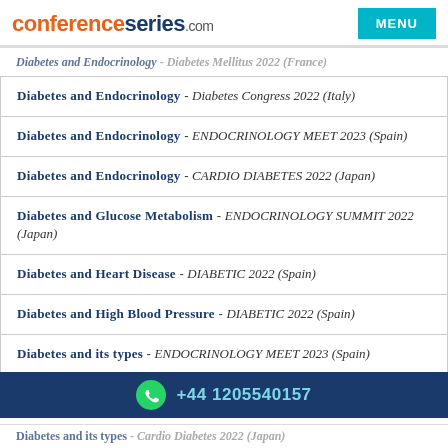conferenceseries.com | MENU
Diabetes and Endocrinology - Diabetes Congress 2022 (Italy)
Diabetes and Endocrinology - ENDOCRINOLOGY MEET 2023 (Spain)
Diabetes and Endocrinology - CARDIO DIABETES 2022 (Japan)
Diabetes and Glucose Metabolism - ENDOCRINOLOGY SUMMIT 2022 (Japan)
Diabetes and Heart Disease - DIABETIC 2022 (Spain)
Diabetes and High Blood Pressure - DIABETIC 2022 (Spain)
Diabetes and its types - ENDOCRINOLOGY MEET 2023 (Spain)
+44 1205540157